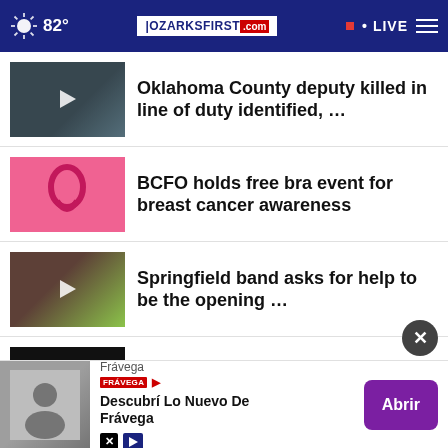82° OZARKSFIRST.com LIVE
Oklahoma County deputy killed in line of duty identified, …
BCFO holds free bra event for breast cancer awareness
Springfield band asks for help to be the opening …
Trump suing to stall FBI probe after Mar-a-Lago raid: …
Eden Village files lawsuit against State of Missouri, …
[Figure (screenshot): Advertisement banner: Frávega brand, text 'Descubrí Lo Nuevo De Frávega', purple 'Abrir' button]